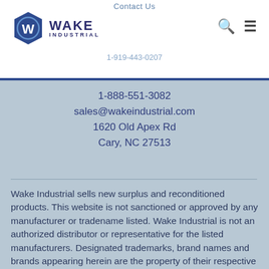Contact Us
[Figure (logo): Wake Industrial hexagonal logo with stylized W/G icon followed by WAKE INDUSTRIAL text]
1-919-443-0207
1-888-551-3082
sales@wakeindustrial.com
1620 Old Apex Rd
Cary, NC 27513
Wake Industrial sells new surplus and reconditioned products. This website is not sanctioned or approved by any manufacturer or tradename listed. Wake Industrial is not an authorized distributor or representative for the listed manufacturers. Designated trademarks, brand names and brands appearing herein are the property of their respective owners.